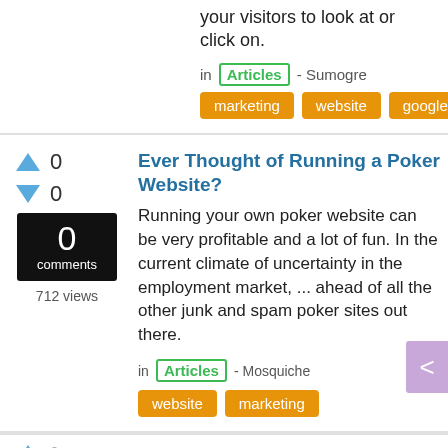your visitors to look at or click on.
in Articles - Sumogre
marketing
website
google
Ever Thought of Running a Poker Website?
Running your own poker website can be very profitable and a lot of fun. In the current climate of uncertainty in the employment market, ... ahead of all the other junk and spam poker sites out there.
in Articles - Mosquiche
website
marketing
Turn Your Web Site into a Lead...